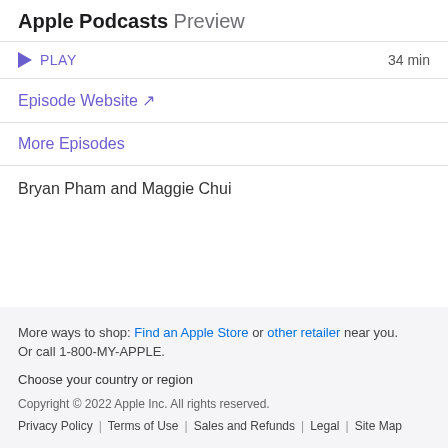Apple Podcasts Preview
PLAY   34 min
Episode Website ↗
More Episodes
Bryan Pham and Maggie Chui
More ways to shop: Find an Apple Store or other retailer near you. Or call 1-800-MY-APPLE. Choose your country or region Copyright © 2022 Apple Inc. All rights reserved. Privacy Policy | Terms of Use | Sales and Refunds | Legal | Site Map